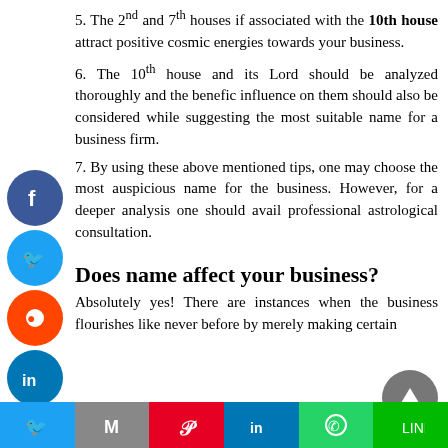5. The 2nd and 7th houses if associated with the 10th house attract positive cosmic energies towards your business.
6. The 10th house and its Lord should be analyzed thoroughly and the benefic influence on them should also be considered while suggesting the most suitable name for a business firm.
7. By using these above mentioned tips, one may choose the most auspicious name for the business. However, for a deeper analysis one should avail professional astrological consultation.
Does name affect your business?
Absolutely yes! There are instances when the business flourishes like never before by merely making certain